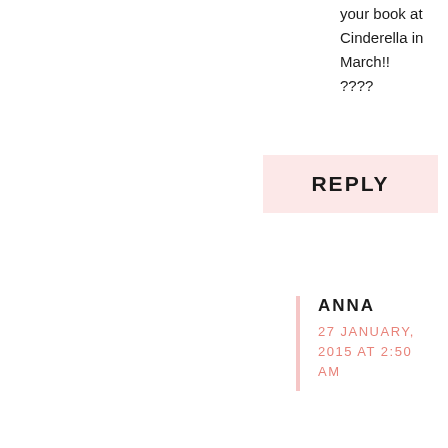your book at Cinderella in March!!
????
REPLY
ANNA
27 JANUARY, 2015 AT 2:50 AM
Jenny this is incredible! Amazing !
REPLY
[Figure (photo): Profile photo of Rimke, a woman with blonde hair smiling outdoors]
RIMKE
27 JANUARY, 2015 AT 2:56 AM